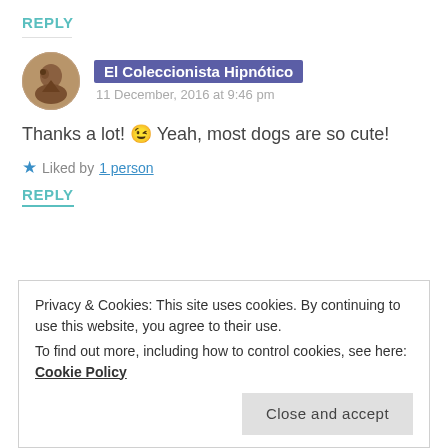REPLY
El Coleccionista Hipnótico
11 December, 2016 at 9:46 pm
Thanks a lot! 😉 Yeah, most dogs are so cute!
★ Liked by 1 person
REPLY
Privacy & Cookies: This site uses cookies. By continuing to use this website, you agree to their use.
To find out more, including how to control cookies, see here: Cookie Policy
Close and accept